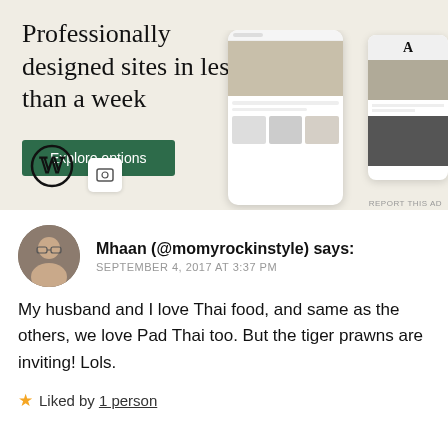[Figure (screenshot): WordPress advertisement banner: 'Professionally designed sites in less than a week' with green 'Explore options' button, WordPress logo, and mockup phone/tablet screens showing website designs.]
Mhaan (@momyrockinstyle) says:
SEPTEMBER 4, 2017 AT 3:37 PM
My husband and I love Thai food, and same as the others, we love Pad Thai too. But the tiger prawns are inviting! Lols.
Liked by 1 person